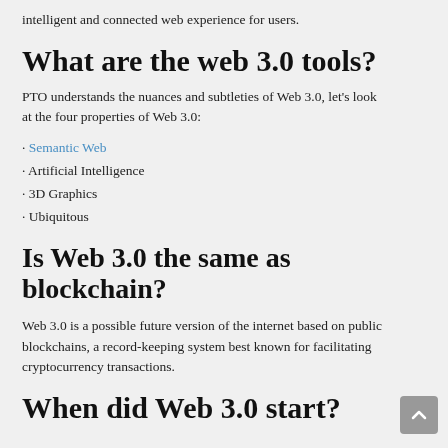intelligent and connected web experience for users.
What are the web 3.0 tools?
PTO understands the nuances and subtleties of Web 3.0, let's look at the four properties of Web 3.0:
· Semantic Web
· Artificial Intelligence
· 3D Graphics
· Ubiquitous
Is Web 3.0 the same as blockchain?
Web 3.0 is a possible future version of the internet based on public blockchains, a record-keeping system best known for facilitating cryptocurrency transactions.
When did Web 3.0 start?